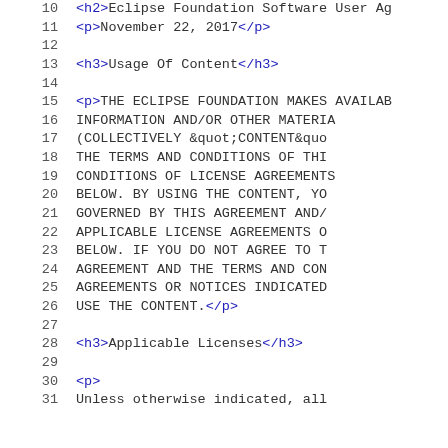10   <h2>Eclipse Foundation Software User Ag
11       <p>November 22, 2017</p>
12
13       <h3>Usage Of Content</h3>
14
15       <p>THE ECLIPSE FOUNDATION MAKES AVAILAB
16           INFORMATION AND/OR OTHER MATERIA
17           (COLLECTIVELY &quot;CONTENT&quo
18           THE TERMS AND CONDITIONS OF THI
19           CONDITIONS OF LICENSE AGREEMENTS
20           BELOW. BY USING THE CONTENT, YO
21           GOVERNED BY THIS AGREEMENT AND/
22           APPLICABLE LICENSE AGREEMENTS O
23           BELOW. IF YOU DO NOT AGREE TO T
24           AGREEMENT AND THE TERMS AND CON
25           AGREEMENTS OR NOTICES INDICATED
26           USE THE CONTENT.</p>
27
28       <h3>Applicable Licenses</h3>
29
30       <p>
31           Unless otherwise indicated, all